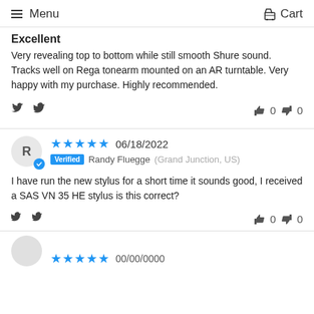Menu  Cart
Excellent
Very revealing top to bottom while still smooth Shure sound. Tracks well on Rega tonearm mounted on an AR turntable. Very happy with my purchase. Highly recommended.
f  (twitter)  👍 0  👎 0
★★★★★ 06/18/2022  Verified Randy Fluegge (Grand Junction, US)
I have run the new stylus for a short time it sounds good, I received a SAS VN 35 HE stylus is this correct?
f  (twitter)  👍 0  👎 0
★★★★★ 00/00/0000